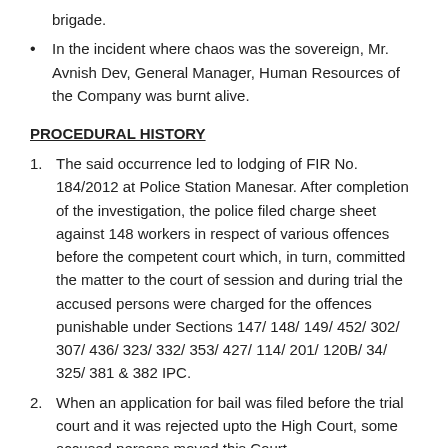brigade.
In the incident where chaos was the sovereign, Mr. Avnish Dev, General Manager, Human Resources of the Company was burnt alive.
PROCEDURAL HISTORY
The said occurrence led to lodging of FIR No. 184/2012 at Police Station Manesar. After completion of the investigation, the police filed charge sheet against 148 workers in respect of various offences before the competent court which, in turn, committed the matter to the court of session and during trial the accused persons were charged for the offences punishable under Sections 147/ 148/ 149/ 452/ 302/ 307/ 436/ 323/ 332/ 353/ 427/ 114/ 201/ 120B/ 34/ 325/ 381 & 382 IPC.
When an application for bail was filed before the trial court and it was rejected upto the High Court, some accused persons moved this Court.